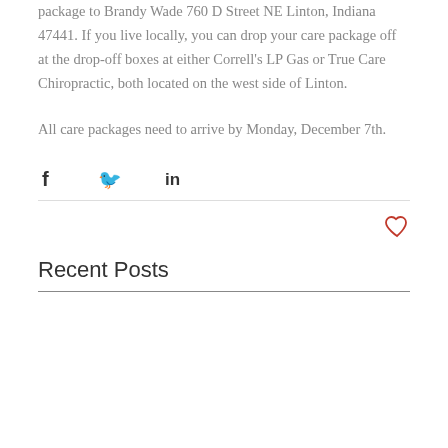package to Brandy Wade 760 D Street NE Linton, Indiana 47441.  If you live locally, you can drop your care package off at the drop-off boxes at either Correll's LP Gas or True Care Chiropractic, both located on the west side of Linton.

All care packages need to arrive by Monday, December 7th.
[Figure (infographic): Social share icons: Facebook (f), Twitter (bird), LinkedIn (in)]
[Figure (infographic): Heart/like icon (outline heart in salmon/red color) in top-right area]
Recent Posts